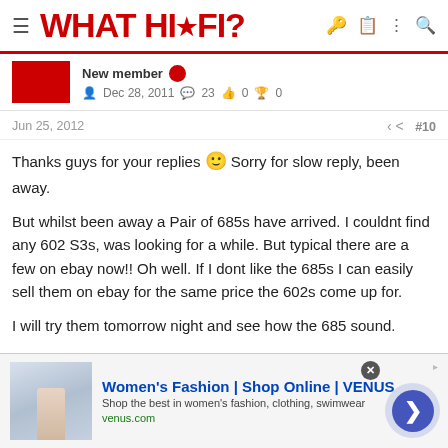WHAT HI·FI?
New member  Dec 28, 2011  23  0  0
Jun 25, 2012  #10
Thanks guys for your replies 🙂 Sorry for slow reply, been away.

But whilst been away a Pair of 685s have arrived. I couldnt find any 602 S3s, was looking for a while. But typical there are a few on ebay now!! Oh well. If I dont like the 685s I can easily sell them on ebay for the same price the 602s come up for.

I will try them tomorrow night and see how the 685 sound.

My brothers tried them at parents and he said they lack the sonic ability and sound my 601 S3s have. But hes only heard the S3s at m...
[Figure (screenshot): Advertisement banner for Women's Fashion | Shop Online | VENUS with image of fashion model, blue heading, subtitle and venus.com URL, with close button and arrow navigation button]